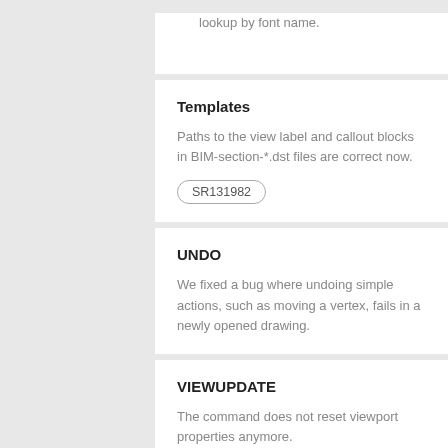lookup by font name.
Templates
Paths to the view label and callout blocks in BIM-section-*.dst files are correct now.
SR131982
UNDO
We fixed a bug where undoing simple actions, such as moving a vertex, fails in a newly opened drawing.
VIEWUPDATE
The command does not reset viewport properties anymore.